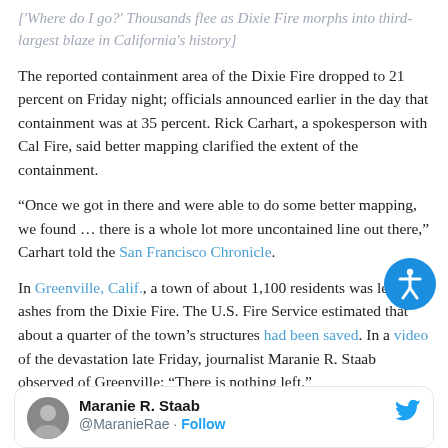['Where do I go?' Thousands flee as Dixie Fire morphs into third-largest blaze in California's history]
The reported containment area of the Dixie Fire dropped to 21 percent on Friday night; officials announced earlier in the day that containment was at 35 percent. Rick Carhart, a spokesperson with Cal Fire, said better mapping clarified the extent of the containment.
“Once we got in there and were able to do some better mapping, we found … there is a whole lot more uncontained line out there,” Carhart told the San Francisco Chronicle.
In Greenville, Calif., a town of about 1,100 residents was left in ashes from the Dixie Fire. The U.S. Fire Service estimated that about a quarter of the town’s structures had been saved. In a video of the devastation late Friday, journalist Maranie R. Staab observed of Greenville: “There is nothing left.”
[Figure (other): Tweet card from Maranie R. Staab (@MaranieRae) with a Follow button and Twitter bird logo]